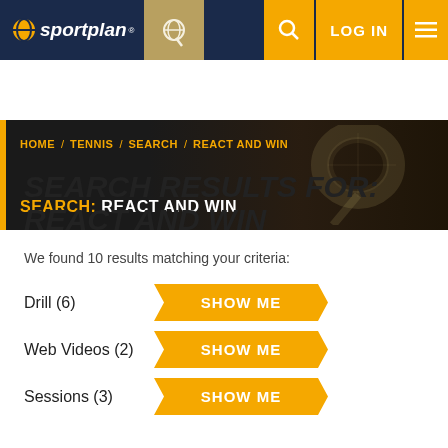[Figure (screenshot): Sportplan website header with logo, tennis badge, search icon, LOG IN button and menu icon on dark blue and gold background]
HOME / TENNIS / SEARCH / REACT AND WIN — SEARCH: REACT AND WIN
SEARCH RESULTS FOR: REACT AND WIN
We found 10 results matching your criteria:
Drill (6)  SHOW ME
Web Videos (2)  SHOW ME
Sessions (3)  SHOW ME